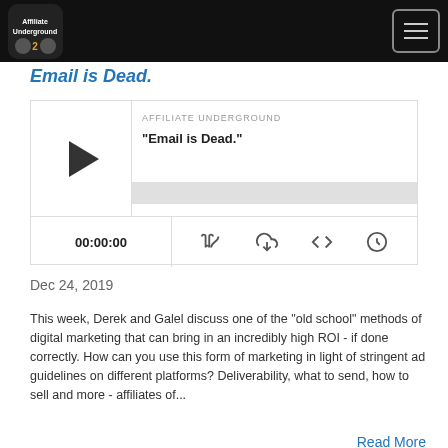Affiliate Underground
Email is Dead.
[Figure (screenshot): Podcast player widget showing 'Affiliate Underground' podcast episode titled '"Email is Dead."' with play button, progress bar, timestamp 00:00:00, and media control icons]
Dec 24, 2019
This week, Derek and Galel discuss one of the "old school" methods of digital marketing that can bring in an incredibly high ROI - if done correctly. How can you use this form of marketing in light of stringent ad guidelines on different platforms? Deliverability, what to send, how to sell and more - affiliates of...
Read More
Expanding Beyond the US and Canada